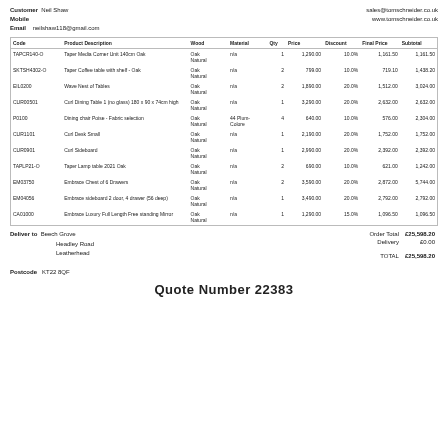Customer: Neil Shaw
Mobile:
Email: neilshaw118@gmail.com
sales@tomschneider.co.uk
www.tomschneider.co.uk
| Code | Product Description | Wood | Material | Qty | Price | Discount | Final Price | Subtotal |
| --- | --- | --- | --- | --- | --- | --- | --- | --- |
| TAPCR140-O | Taper Media Corner Unit 140cm Oak | Oak Natural | n/a | 1 | 1,290.00 | 10.0% | 1,161.50 | 1,161.50 |
| SKTSH4302-O | Taper Coffee table with shelf - Oak | Oak Natural | n/a | 2 | 799.00 | 10.0% | 719.10 | 1,438.20 |
| EIL0200 | Wave Nest of Tables | Oak Natural | n/a | 2 | 1,890.00 | 20.0% | 1,512.00 | 3,024.00 |
| CUR00501 | Curl Dining Table 1 (no glass) 180 x 90 x 74cm high | Oak Natural | n/a | 1 | 3,290.00 | 20.0% | 2,632.00 | 2,632.00 |
| P0100 | Dining chair Poise - Fabric selection | Oak Natural | 44 Plum-Colore | 4 | 640.00 | 10.0% | 576.00 | 2,304.00 |
| CUR1101 | Curl Desk Small | Oak Natural | n/a | 1 | 2,190.00 | 20.0% | 1,752.00 | 1,752.00 |
| CUR0901 | Curl Sideboard | Oak Natural | n/a | 1 | 2,990.00 | 20.0% | 2,392.00 | 2,392.00 |
| TAPLP21-O | Taper Lamp table 2021 Oak | Oak Natural | n/a | 2 | 690.00 | 10.0% | 621.00 | 1,242.00 |
| EM03750 | Embrace Chest of 6 Drawers | Oak Natural | n/a | 2 | 3,590.00 | 20.0% | 2,872.00 | 5,744.00 |
| EM04056 | Embrace sideboard 2 door, 4 drawer (56 deep) | Oak Natural | n/a | 1 | 3,490.00 | 20.0% | 2,792.00 | 2,792.00 |
| CA01000 | Embrace Luxury Full Length Free standing Mirror | Oak Natural | n/a | 1 | 1,290.00 | 15.0% | 1,096.50 | 1,096.50 |
Deliver to: Beech Grove
Headley Road
Leatherhead
Postcode: KT22 8QF
Order Total: £25,598.20
Delivery: £0.00
TOTAL: £25,598.20
Quote Number 22383